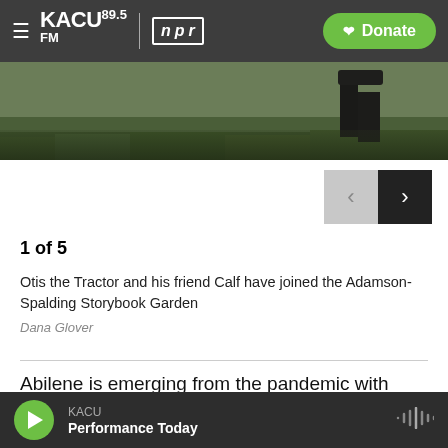KACU 89.5FM | npr — Donate
[Figure (photo): Bottom portion of an outdoor photo showing grass and dark animal legs, likely a calf or tractor scene]
1 of 5
Otis the Tractor and his friend Calf have joined the Adamson-Spalding Storybook Garden
Dana Glover
Abilene is emerging from the pandemic with celebrations that got put on hold last year.  When organizers cancelled the 2020 Children's Art and Literacy Festival, they immediately made plans to honor the same children's book illustrator at this
KACU — Performance Today